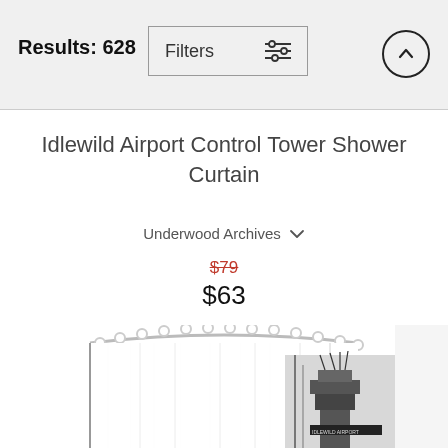Results: 628
Filters
Idlewild Airport Control Tower Shower Curtain
Underwood Archives
$79
$63
[Figure (photo): Product photo of a shower curtain mockup showing an airport control tower image, with curtain rings and partial view of the black-and-white photograph of Idlewild Airport Control Tower.]